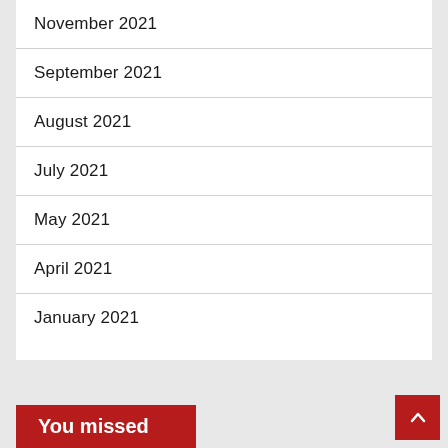November 2021
September 2021
August 2021
July 2021
May 2021
April 2021
January 2021
You missed